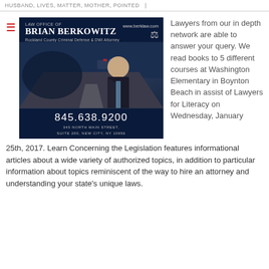HUSBAND, LIVES, MATTER, MOTHER, POINTED
[Figure (advertisement): Law Office of Brian Berkowitz advertisement. Dark blue background with photo of attorney. Text: LAW OFFICE OF, www.berklaw.com, BRIAN BERKOWITZ, Rockland County Criminal Defense & DWI Attorney, 845.638.9200, 345 NORTH MAIN STREET, SUITE 200, NEW CITY, NY 10956]
Lawyers from our in depth network are able to answer your query. We read books to 5 different courses at Washington Elementary in Boynton Beach in assist of Lawyers for Literacy on Wednesday, January 25th, 2017. Learn Concerning the Legislation features informational articles about a wide variety of authorized topics, in addition to particular information about topics reminiscent of the way to hire an attorney and understanding your state's unique laws.